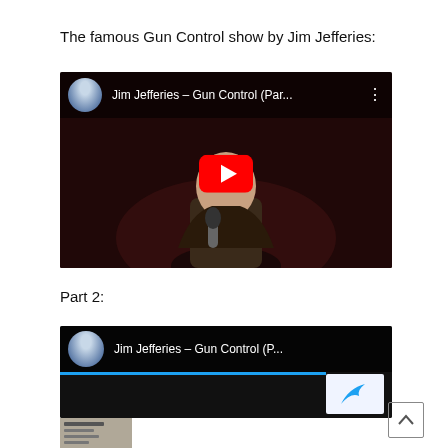The famous Gun Control show by Jim Jefferies:
[Figure (screenshot): YouTube video thumbnail for Jim Jefferies – Gun Control (Par... with play button overlay, showing a man holding a microphone on a dark stage]
Part 2:
[Figure (screenshot): Partially visible YouTube video thumbnail for Jim Jefferies Gun Control Part 2, with a small thumbnail image below left and a scroll-up button at bottom right]